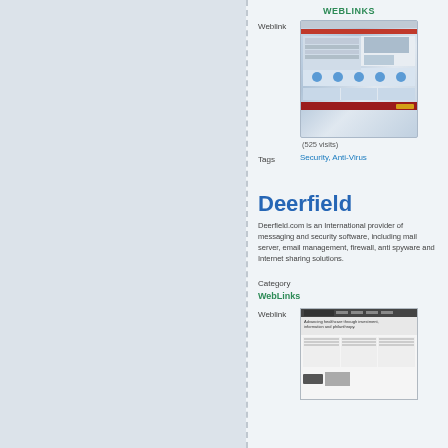WebLinks
Weblink
[Figure (screenshot): Screenshot of Broadcom website with 525 visits]
(525 visits)
Tags
Security, Anti-Virus
Deerfield
Deerfield.com is an International provider of messaging and security software, including mail server, email management, firewall, anti spyware and Internet sharing solutions.
Category
WebLinks
Weblink
[Figure (screenshot): Screenshot of Deerfield website]